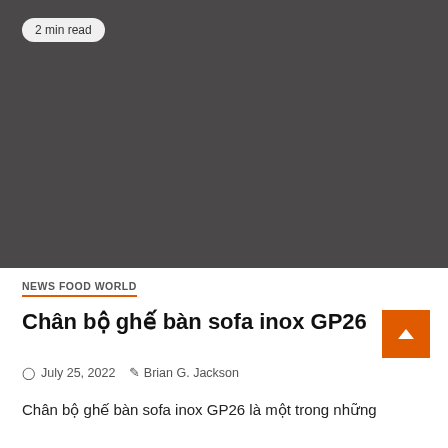[Figure (photo): Dark gray placeholder image area at the top of the article page]
2 min read
NEWS FOOD WORLD
Chân bộ ghế bàn sofa inox GP26
July 25, 2022  Brian G. Jackson
Chân bộ ghế bàn sofa inox GP26 là một trong những